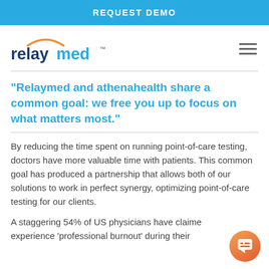REQUEST DEMO
[Figure (logo): Relaymed logo with orange arc above text and trademark symbol]
“Relaymed and athenahealth share a common goal: we free you up to focus on what matters most.”
By reducing the time spent on running point-of-care testing, doctors have more valuable time with patients. This common goal has produced a partnership that allows both of our solutions to work in perfect synergy, optimizing point-of-care testing for our clients.
A staggering 54% of US physicians have claimed experience ‘professional burnout’ during their